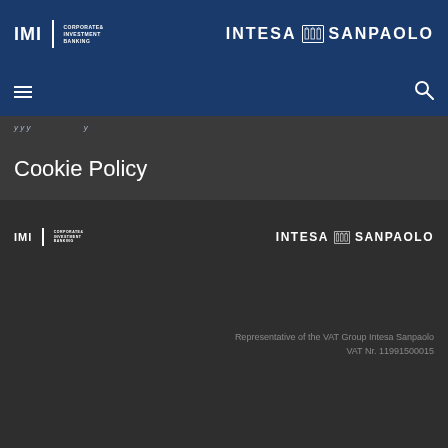[Figure (logo): IMI Corporate & Investment Banking logo (white) on dark blue header, left side]
[Figure (logo): Intesa Sanpaolo logo (white) on dark blue header, right side]
[Figure (logo): Hamburger menu icon (three white lines) on dark blue nav bar, left side]
[Figure (logo): Search/magnifying glass icon on dark blue nav bar, right side]
Cookie Policy
[Figure (logo): IMI Corporate & Investment Banking logo (white) on dark footer, left side]
[Figure (logo): Intesa Sanpaolo logo (white) on dark footer, right side]
Representative of the VAT Group Intesa Sanpaolo
VAT Nr. 11991500015